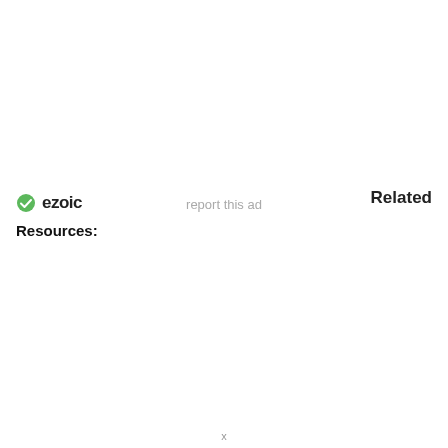[Figure (logo): Ezoic logo with green circle checkmark icon and bold text 'ezoic']
report this ad
Related
Resources:
animlas that start with e
animals beginning with m